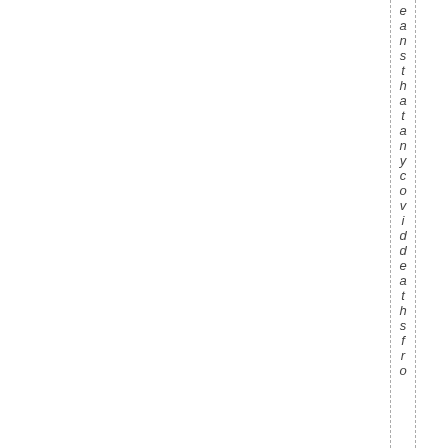eans that any covid deaths fro